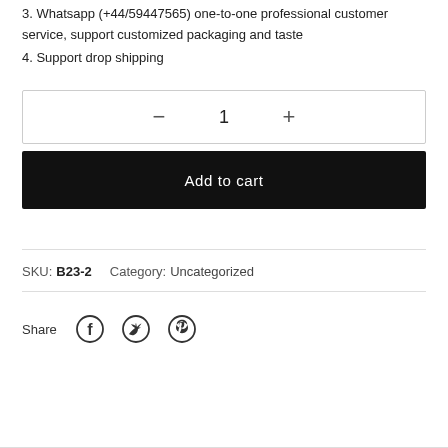3. Whatsapp (+44/59447565) one-to-one professional customer service, support customized packaging and taste
4. Support drop shipping
Quantity control: − 1 +
Add to cart
SKU: B23-2   Category: Uncategorized
Share